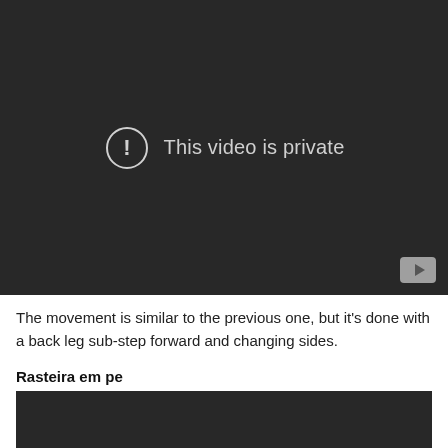[Figure (screenshot): Embedded video player showing 'This video is private' message with a warning icon and YouTube logo button in the bottom right corner. Dark background.]
The movement is similar to the previous one, but it's done with a back leg sub-step forward and changing sides.
Rasteira em pe
[Figure (screenshot): Second embedded video player, partially visible, dark background.]